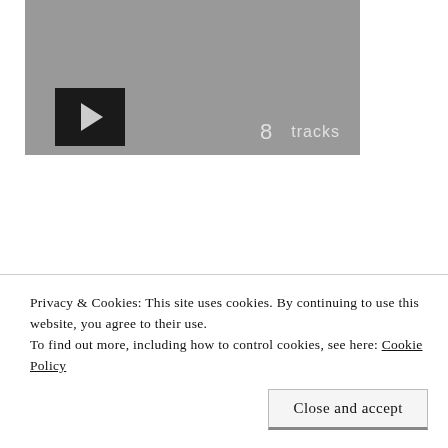[Figure (screenshot): 8tracks embedded music player with grey background, play button (black square with white triangle) on lower left, and '8tracks' logo text in light grey on lower right]
Share this
Privacy & Cookies: This site uses cookies. By continuing to use this website, you agree to their use.
To find out more, including how to control cookies, see here: Cookie Policy
Close and accept